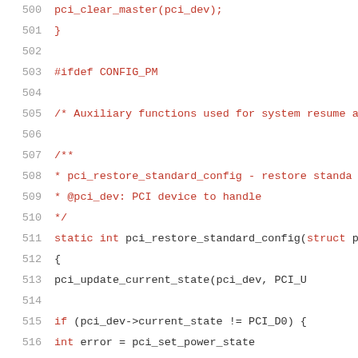Source code listing, lines 500-520
500    pci_clear_master(pci_dev);
501 }
502
503 #ifdef CONFIG_PM
504
505 /* Auxiliary functions used for system resume a
506
507 /**
508  * pci_restore_standard_config - restore standa
509  * @pci_dev: PCI device to handle
510  */
511 static int pci_restore_standard_config(struct p
512 {
513         pci_update_current_state(pci_dev, PCI_U
514
515         if (pci_dev->current_state != PCI_D0) {
516                 int error = pci_set_power_state
517                 if (error)
518                         return error;
519         }
520